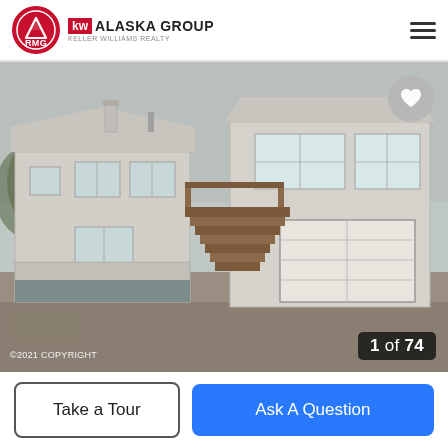RMG | KW ALASKA GROUP KELLER WILLIAMS REALTY
[Figure (photo): Exterior photograph of a two-story residential home with beige/tan siding, multiple windows, wooden staircase, and an attached garage. The driveway is unpaved. Photo taken in overcast conditions. Address number 460 visible on the structure. Image counter shows 1 of 74.]
©2021 COPYRIGHT
1 of 74
Take a Tour
Ask A Question